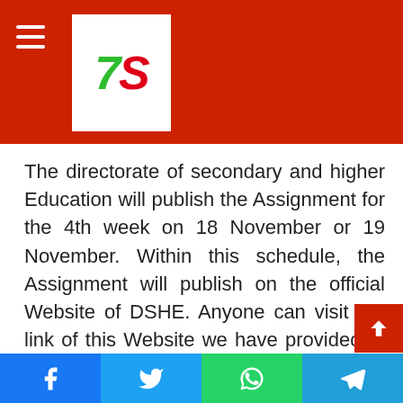[Figure (logo): Website logo with '7S' text in green and red on white background, set in a red header bar with hamburger menu icon]
The directorate of secondary and higher Education will publish the Assignment for the 4th week on 18 November or 19 November. Within this schedule, the Assignment will publish on the official Website of DSHE. Anyone can visit the link of this Website we have provided to know details about the assignment schedule and syllabus.